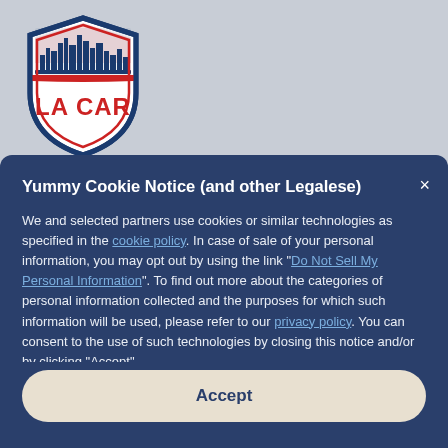[Figure (logo): LA CAR shield logo with city skyline silhouette, red and navy blue colors, text 'LA CAR' in red bold font]
Yummy Cookie Notice (and other Legalese)
We and selected partners use cookies or similar technologies as specified in the cookie policy. In case of sale of your personal information, you may opt out by using the link "Do Not Sell My Personal Information". To find out more about the categories of personal information collected and the purposes for which such information will be used, please refer to our privacy policy. You can consent to the use of such technologies by closing this notice and/or by clicking "Accept".
Accept